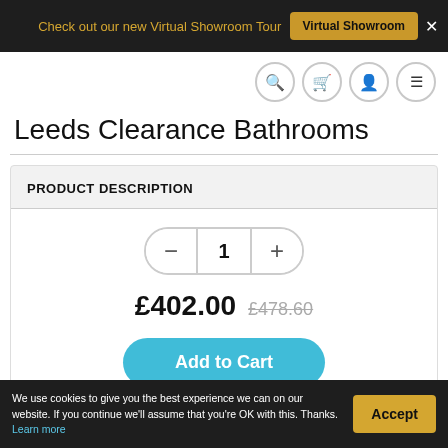Check out our new Virtual Showroom Tour   Virtual Showroom  ×
[Figure (screenshot): Navigation icon bar with search, cart, account, and menu circle icons]
Leeds Clearance Bathrooms
PRODUCT DESCRIPTION
[Figure (screenshot): Quantity stepper showing minus button, value 1, plus button]
£402.00  £478.60
Add to Cart
We use cookies to give you the best experience we can on our website. If you continue we'll assume that you're OK with this. Thanks. Learn more   Accept